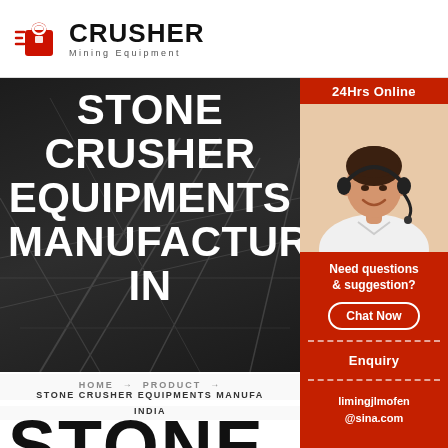[Figure (logo): Crusher Mining Equipment logo with red shopping bag icon and bold black CRUSHER text]
STONE CRUSHER EQUIPMENTS MANUFACTURES IN
[Figure (photo): Woman wearing headset smiling, customer service representative for 24Hrs Online chat support]
24Hrs Online
Need questions & suggestion?
Chat Now
Enquiry
limingjlmofen@sina.com
HOME → PRODUCT → STONE CRUSHER EQUIPMENTS MANUFACTURES IN INDIA
STONE